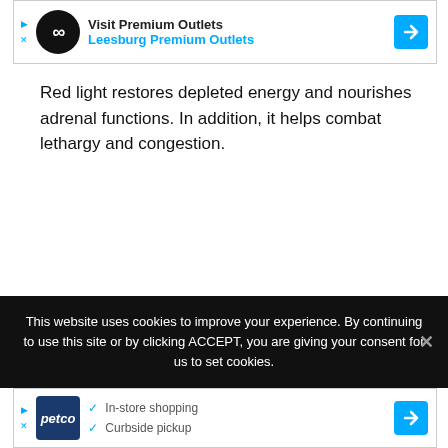[Figure (other): Advertisement banner for Leesburg Premium Outlets with infinity logo]
Red light restores depleted energy and nourishes adrenal functions. In addition, it helps combat lethargy and congestion.
This website uses cookies to improve your experience. By continuing to use this site or by clicking ACCEPT, you are giving your consent for us to set cookies.
[Figure (other): Advertisement banner for Petco with in-store shopping and curbside pickup checkmarks]